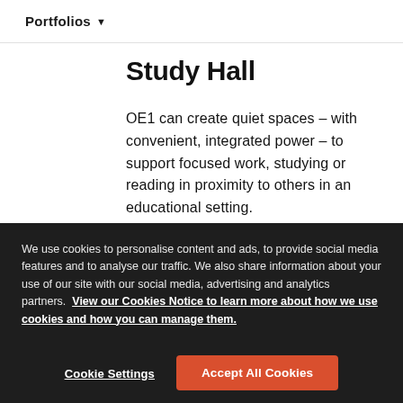Portfolios
Study Hall
OE1 can create quiet spaces – with convenient, integrated power – to support focused work, studying or reading in proximity to others in an educational setting.
We use cookies to personalise content and ads, to provide social media features and to analyse our traffic. We also share information about your use of our site with our social media, advertising and analytics partners. View our Cookies Notice to learn more about how we use cookies and how you can manage them.
Cookie Settings
Accept All Cookies